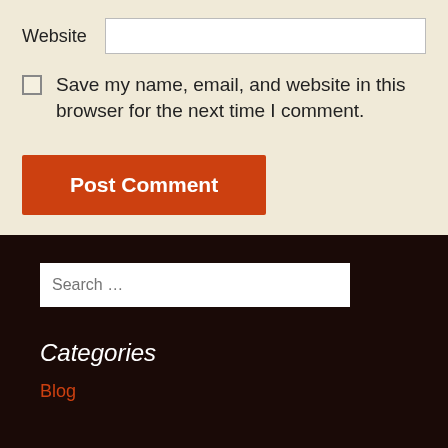Website
Save my name, email, and website in this browser for the next time I comment.
Post Comment
Search …
Categories
Blog